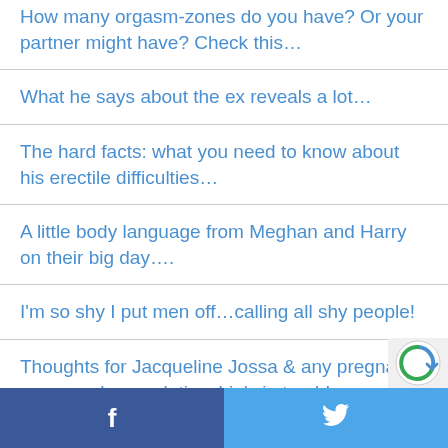How many orgasm-zones do you have? Or your partner might have? Check this…
What he says about the ex reveals a lot…
The hard facts: what you need to know about his erectile difficulties…
A little body language from Meghan and Harry on their big day….
I'm so shy I put men off…calling all shy people!
Thoughts for Jacqueline Jossa & any pregnant woman whose relationship's in trouble…
Facebook | Twitter